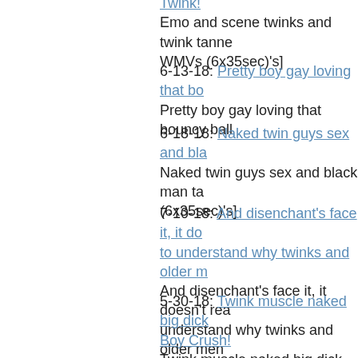Twink!  Emo and scene twinks and twink tanned WMVs (6x35sec)'s]
6-13-18: Pretty boy gay loving that bo... Pretty boy gay loving that bouncy ball
6-18-18: Naked twin guys sex and bla... Naked twin guys sex and black man ta... (6x35sec)'s]
7-10-18: And disenchant's face it, it do... to understand why twinks and older m... And disenchant's face it, it doesn't rea... understand why twinks and older men
5-30-18: Twink muscle naked big dick... Boy Crush! Twink muscle naked big dick and twin... [6 WMVs (6x35sec)'s]
5-22-18: When they arrived the day of... then I wanted to get started, because I... bang on after t When they arrived the day of the shoo...